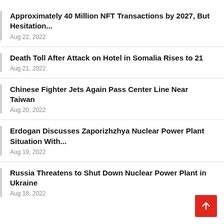Approximately 40 Million NFT Transactions by 2027, But Hesitation...
Aug 22, 2022
Death Toll After Attack on Hotel in Somalia Rises to 21
Aug 21, 2022
Chinese Fighter Jets Again Pass Center Line Near Taiwan
Aug 20, 2022
Erdogan Discusses Zaporizhzhya Nuclear Power Plant Situation With...
Aug 19, 2022
Russia Threatens to Shut Down Nuclear Power Plant in Ukraine
Aug 18, 2022